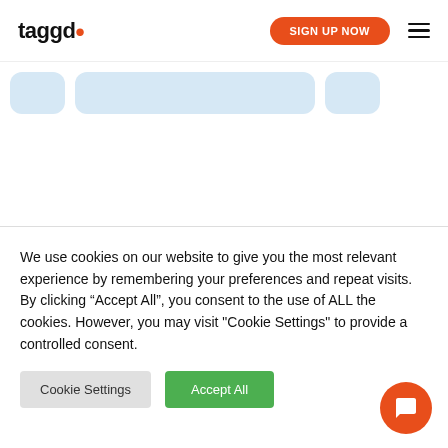taggd. | SIGN UP NOW
[Figure (screenshot): Partially visible card/carousel strip with light blue pill-shaped cards]
Key Contributors
We use cookies on our website to give you the most relevant experience by remembering your preferences and repeat visits. By clicking “Accept All”, you consent to the use of ALL the cookies. However, you may visit "Cookie Settings" to provide a controlled consent.
Cookie Settings | Accept All